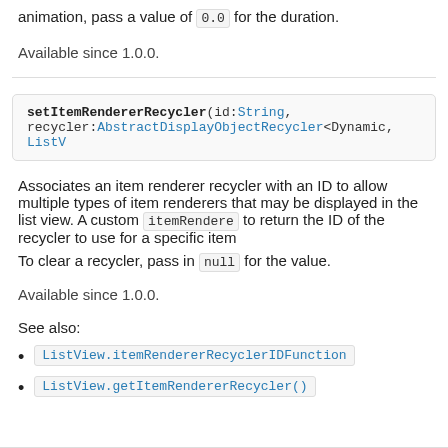animation, pass a value of 0.0 for the duration.
Available since 1.0.0.
setItemRendererRecycler(id:String, recycler:AbstractDisplayObjectRecycler<Dynamic, ListV...
Associates an item renderer recycler with an ID to allow multiple types of item renderers that may be displayed in the list view. A custom itemRenderer... to return the ID of the recycler to use for a specific item...
To clear a recycler, pass in null for the value.
Available since 1.0.0.
See also:
ListView.itemRendererRecyclerIDFunction
ListView.getItemRendererRecycler()